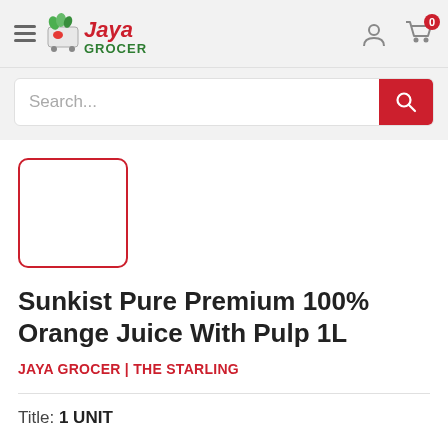Jaya Grocer
[Figure (screenshot): Search bar with placeholder text 'Search...' and a red search button]
[Figure (other): Product image placeholder: empty rounded square with red border]
Sunkist Pure Premium 100% Orange Juice With Pulp 1L
JAYA GROCER | THE STARLING
Title: 1 UNIT